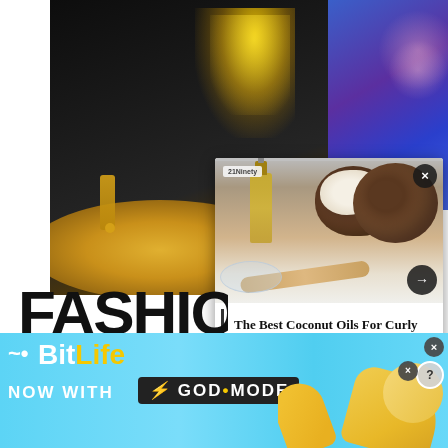[Figure (photo): Background photo of a black cake with gold foil decorations on a gold doily, with a blue/purple floral element in the top right corner]
[Figure (screenshot): Popup overlay showing coconut oil ingredients (coconuts, oil bottle, wooden spoon, glass bowl) with the title 'The Best Coconut Oils For Curly Hair - 21Ninety', close button (x) and next arrow button]
The Best Coconut Oils For Curly Hair - 21Ninety
FASHIO
SHOP N
[Figure (screenshot): BitLife advertisement banner with light blue background, BitLife logo, 'NOW WITH GOD MODE' text in stylized lettering with yellow lightning bolt, and illustrated hands with pointing thumbs]